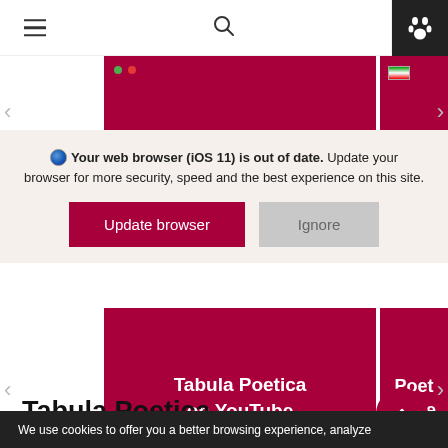Navigation header with hamburger menu, search icon, and paw icon
[Figure (screenshot): Dark red/maroon image panel at top (partially visible, carousel)]
Your web browser (iOS 11) is out of date. Update your browser for more security, speed and the best experience on this site.
Update browser | Ignore
[Figure (screenshot): Dark red/maroon bottom carousel panels with text: 'Tabula Poetica on YouTube' and partially visible 'Poet... Serie...']
Tabula Poetica
We use cookies to offer you a better browsing experience, analyze